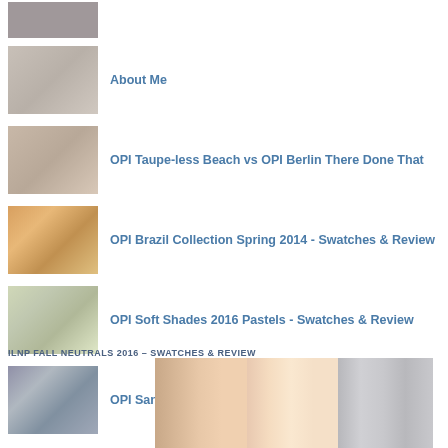[Figure (photo): Thumbnail image at top (partially visible)]
About Me
OPI Taupe-less Beach vs OPI Berlin There Done That
OPI Brazil Collection Spring 2014 - Swatches & Review
OPI Soft Shades 2016 Pastels - Swatches & Review
OPI San Francisco Collection - Swatches & Review
ILNP FALL NEUTRALS 2016 – SWATCHES & REVIEW
[Figure (photo): Close-up photo of three fingernails with nail polish swatches: a shimmery nude/peach, a light nude/pink, and a silver glitter polish]